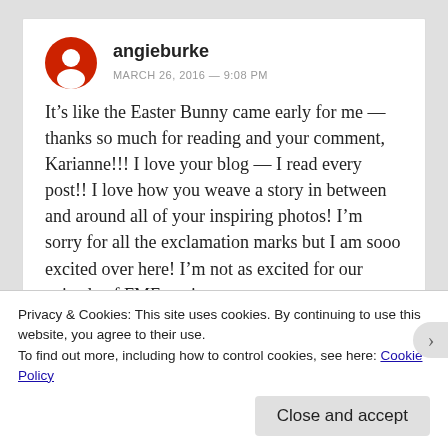angieburke
MARCH 26, 2016 — 9:08 PM
It’s like the Easter Bunny came early for me — thanks so much for reading and your comment, Karianne!!! I love your blog — I read every post!! I love how you weave a story in between and around all of your inspiring photos! I’m sorry for all the exclamation marks but I am sooo excited over here! I’m not as excited for our episode of FMF to air
Privacy & Cookies: This site uses cookies. By continuing to use this website, you agree to their use.
To find out more, including how to control cookies, see here: Cookie Policy
Close and accept